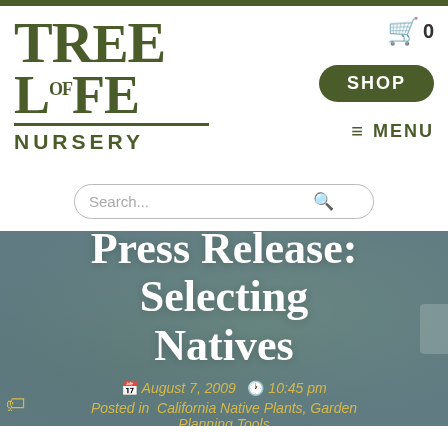[Figure (logo): Tree of Life Nursery logo in dark olive green, large stylized text with 'TREE OF LIFE' stacked and 'NURSERY' below with a horizontal rule]
SHOP   ≡ MENU   🛒 0
[Figure (screenshot): Search bar with rounded border, placeholder text 'Search...' and magnifying glass icon]
Press Release: Selecting Natives
August 7, 2009   10:45 pm
Posted in California Native Plants, Garden Planning Tools